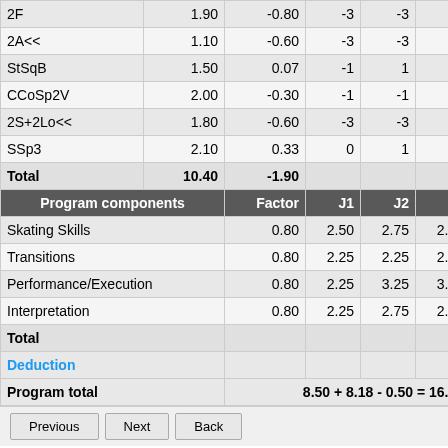|  | Base | GOE | J1 | J2 | J3 | Score |
| --- | --- | --- | --- | --- | --- | --- |
| 2F | 1.90 | -0.80 | -3 | -3 | -2 | 1.1x |
| 2A<< | 1.10 | -0.60 | -3 | -3 | -3 | 0.5x |
| StSqB | 1.50 | 0.07 | -1 | 1 | 0 | 1.5x |
| CCoSp2V | 2.00 | -0.30 | -1 | -1 | -1 | 1.7x |
| 2S+2Lo<< | 1.80 | -0.60 | -3 | -3 | -3 | 1.2x |
| SSp3 | 2.10 | 0.33 | 0 | 1 | 1 | 2.4x |
| Total | 10.40 | -1.90 |  |  |  | 8.5x |
| Program components | Factor | J1 | J2 | J3 | Score |
| --- | --- | --- | --- | --- | --- |
| Skating Skills | 0.80 | 2.50 | 2.75 | 2.50 | 2.5x |
| Transitions | 0.80 | 2.25 | 2.25 | 2.50 | 2.3x |
| Performance/Execution | 0.80 | 2.25 | 3.25 | 3.00 | 2.8x |
| Interpretation | 0.80 | 2.25 | 2.75 | 2.50 | 2.5x |
| Total |  |  |  |  | 8.1x |
| Deduction | Score |
| --- | --- |
| Deduction | 0.5x |
| Program total | 8.50 + 8.18 - 0.50 = 16.1x |